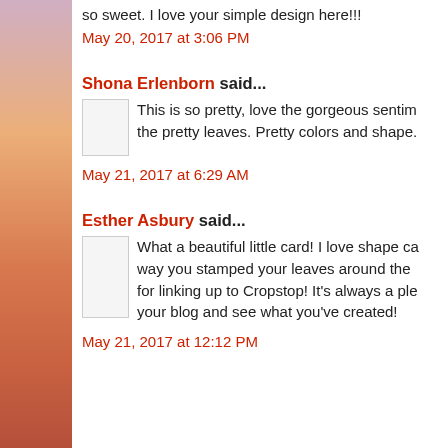so sweet. I love your simple design here!!!
May 20, 2017 at 3:06 PM
Shona Erlenborn said...
This is so pretty, love the gorgeous sentim... the pretty leaves. Pretty colors and shape.
May 21, 2017 at 6:29 AM
Esther Asbury said...
What a beautiful little card! I love shape ca... way you stamped your leaves around the ... for linking up to Cropstop! It's always a ple... your blog and see what you've created!
May 21, 2017 at 12:12 PM